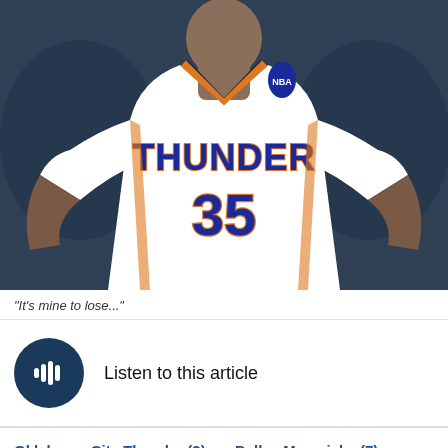[Figure (photo): Basketball player wearing Oklahoma City Thunder #35 jersey (Kevin Durant), white uniform with blue and orange lettering, hands on hips, blurred arena background]
"It's mine to lose..."
[Figure (other): Audio player button - dark navy circular button with sound wave / play icon]
Listen to this article
Oklahoma City Thunder (2) vs. Dallas Mavericks (7)
Regular Season Series: OKC Leads 3 - 1